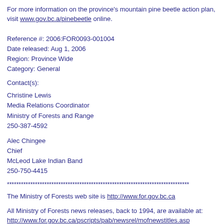For more information on the province's mountain pine beetle action plan, visit www.gov.bc.a/pinebeetle online.
Reference #: 2006:FOR0093-001004
Date released: Aug 1, 2006
Region: Province Wide
Category: General
Contact(s):
Christine Lewis
Media Relations Coordinator
Ministry of Forests and Range
250-387-4592
Alec Chingee
Chief
McLeod Lake Indian Band
250-750-4415
******************************************************************************
The Ministry of Forests web site is http://www.for.gov.bc.ca
All Ministry of Forests news releases, back to 1994, are available at: http://www.for.gov.bc.ca/pscripts/pab/newsrel/mofnewstitles.asp